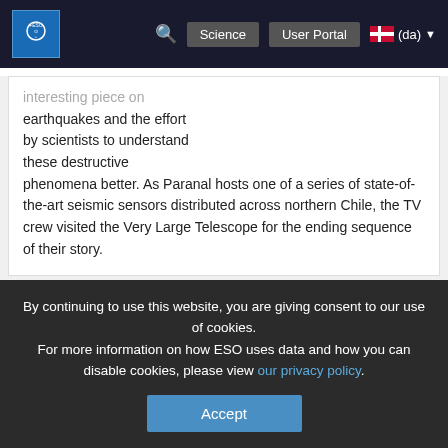ESO — Science | User Portal | (da)
interesting piece on earthquakes and the effort by scientists to understand these destructive phenomena better. As Paranal hosts one of a series of state-of-the-art seismic sensors distributed across northern Chile, the TV crew visited the Very Large Telescope for the ending sequence of their story.
1. februar 2011
A Wilde Day at ESO's Paranal Observatory
By continuing to use this website, you are giving consent to our use of cookies.
For more information on how ESO uses data and how you can disable cookies, please view our privacy policy.